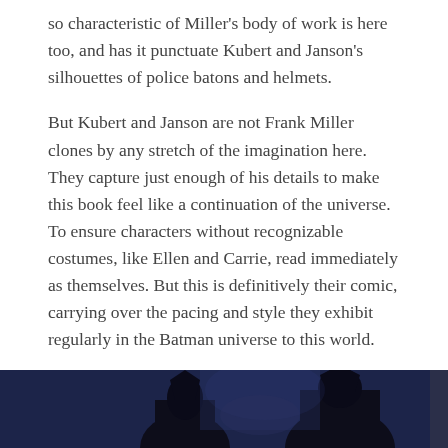so characteristic of Miller's body of work is here too, and has it punctuate Kubert and Janson's silhouettes of police batons and helmets.
But Kubert and Janson are not Frank Miller clones by any stretch of the imagination here. They capture just enough of his details to make this book feel like a continuation of the universe. To ensure characters without recognizable costumes, like Ellen and Carrie, read immediately as themselves. But this is definitively their comic, carrying over the pacing and style they exhibit regularly in the Batman universe to this world.
I love the brawniness of both Wonder Woman and Lara. I adore the idea of Carrie being not the Batwoman or Batgirl, but the BatMAN. No woman is trading on her sexuality for power and Kubert gives them all the same physical prowess as he has Batman and Robin in the past. It's a delight, and reinforces the other fascinating aspect of Dark Knight III's modernity.
[Figure (photo): Dark silhouetted figures against a dark blue/night sky background, appearing to be comic book artwork.]